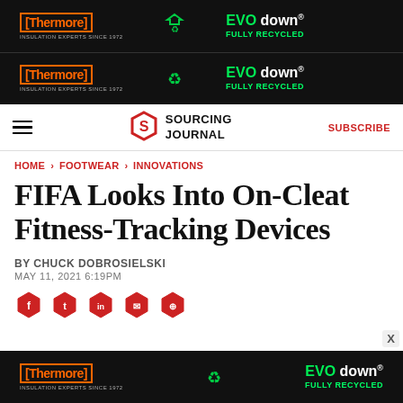[Figure (illustration): Thermore and EVO down advertisement banner (double stacked), dark background with orange Thermore logo, recycling icon, and green EVO down branding with FULLY RECYCLED text]
SOURCING JOURNAL | SUBSCRIBE
HOME > FOOTWEAR > INNOVATIONS
FIFA Looks Into On-Cleat Fitness-Tracking Devices
BY CHUCK DOBROSIELSKI
MAY 11, 2021 6:19PM
[Figure (illustration): Row of social sharing hexagon icons (partially visible at bottom)]
[Figure (illustration): Thermore and EVO down advertisement banner at bottom, dark background]